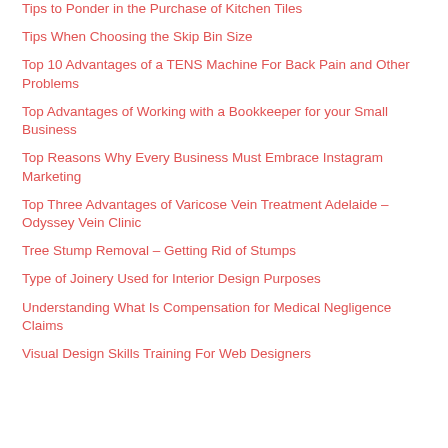Tips to Ponder in the Purchase of Kitchen Tiles
Tips When Choosing the Skip Bin Size
Top 10 Advantages of a TENS Machine For Back Pain and Other Problems
Top Advantages of Working with a Bookkeeper for your Small Business
Top Reasons Why Every Business Must Embrace Instagram Marketing
Top Three Advantages of Varicose Vein Treatment Adelaide – Odyssey Vein Clinic
Tree Stump Removal – Getting Rid of Stumps
Type of Joinery Used for Interior Design Purposes
Understanding What Is Compensation for Medical Negligence Claims
Visual Design Skills Training For Web Designers